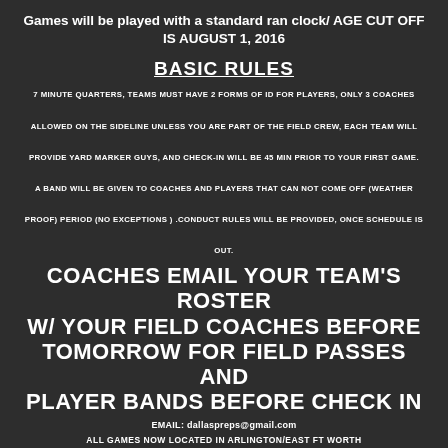Games will be played with a standard ran clock/ AGE CUT OFF IS AUGUST 1, 2016
BASIC RULES
7 MINUTE QUARTERS, TEAMS MUST HAVE 2 FORMS OF ID FOR PLAYERS, ONLY 3 COACHES ALLOWED ON THE SIDELINE UNLESS YOU ARE PART OF THE FIELD CREW, EACH TEAM WILL PROVIDE YARD MARKER GUYS, AND CHECK-IN WILL BE 45 MIN PRIOR TO YOUR FIRST GAME. A BAND WILL BE GIVEN TO COACHES AND PLAYERS THAT CAN NOT COME OFF (WEATHER PROOF) PERIOD (NO EXCEPTIONS ) .CONDUCT RULES WILL BE PROVIDED, ONCE SCHEDULE IS OUT.
COACHES EMAIL YOUR TEAM'S ROSTER W/ YOUR FIELD COACHES BEFORE TOMORROW FOR FIELD PASSES AND PLAYER BANDS BEFORE CHECK IN
EMAIL: dallaspreps@gmail.com
ALL GAMES NOW LOCATED IN ARLINGTON/EAST FT WORTH
Weather Projected for D/FW: Saturday (Hi 39/ Low 25 Sunny) Championship Sunday (Hi 48/